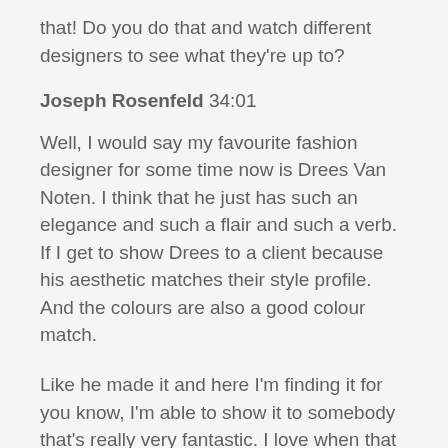that! Do you do that and watch different designers to see what they're up to?
Joseph Rosenfeld 34:01
Well, I would say my favourite fashion designer for some time now is Drees Van Noten. I think that he just has such an elegance and such a flair and such a verb. If I get to show Drees to a client because his aesthetic matches their style profile. And the colours are also a good colour match.
Like he made it and here I'm finding it for you know, I'm able to show it to somebody that's really very fantastic. I love when that gets to happen. I'm a Drees wear myself, I think it's when I find something exciting for me. It's awesome. I'm also a really big Tom Ford fan.